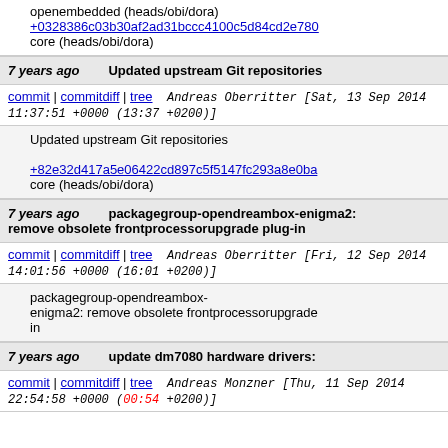openembedded (heads/obi/dora)
+0328386c03b30af2ad31bccc4100c5d84cd2e780
core (heads/obi/dora)
7 years ago    Updated upstream Git repositories
commit | commitdiff | tree   Andreas Oberritter [Sat, 13 Sep 2014 11:37:51 +0000 (13:37 +0200)]
Updated upstream Git repositories
+82e32d417a5e06422cd897c5f5147fc293a8e0ba
core (heads/obi/dora)
7 years ago    packagegroup-opendreambox-enigma2: remove obsolete frontprocessorupgrade plug-in
commit | commitdiff | tree   Andreas Oberritter [Fri, 12 Sep 2014 14:01:56 +0000 (16:01 +0200)]
packagegroup-opendreambox-enigma2: remove obsolete frontprocessorupgrade in
7 years ago    update dm7080 hardware drivers:
commit | commitdiff | tree   Andreas Monzner [Thu, 11 Sep 2014 22:54:58 +0000 (00:54 +0200)]